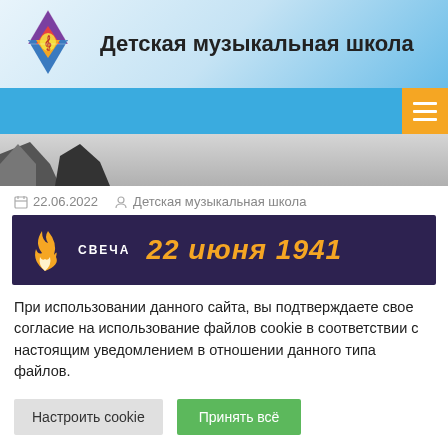Детская музыкальная школа
[Figure (screenshot): Partial top of a page image showing dark silhouettes]
22.06.2022   Детская музыкальная школа
[Figure (photo): Dark purple banner with flame icon, text СВЕЧА and 22 июня 1941 in orange]
При использовании данного сайта, вы подтверждаете свое согласие на использование файлов cookie в соответствии с настоящим уведомлением в отношении данного типа файлов.
Настроить cookie   Принять всё